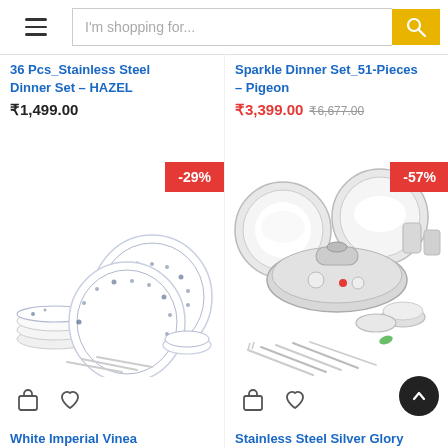[Figure (screenshot): E-commerce shopping page header with hamburger menu, search bar reading 'I'm shopping for...', and yellow search button]
36 Pcs_Stainless Steel Dinner Set – HAZEL
₹1,499.00
Sparkle Dinner Set_51-Pieces – Pigeon
₹3,399.00 ₹6,677.00
-29%
-57%
[Figure (photo): White Imperial Vinea dinner set with blue floral pattern plates, bowls, spoons arranged on white background]
[Figure (photo): Stainless Steel Silver Glory dinner set with steel plates, pots, spoons, forks arranged on white background]
White Imperial Vinea
Stainless Steel Silver Glory